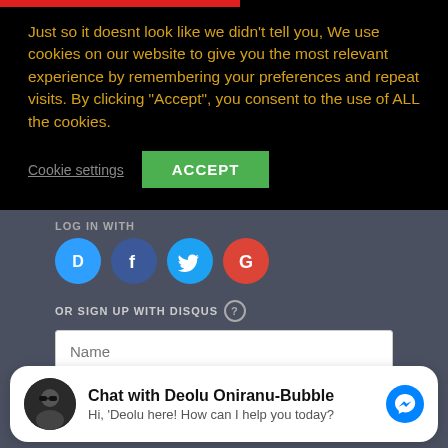Just so it doesnt look like we didn't tell you, We use cookies on our website to give you the most relevant experience by remembering your preferences and repeat visits. By clicking "Accept", you consent to the use of ALL the cookies.
Cookie settings   ACCEPT
LOG IN WITH
[Figure (screenshot): Social login icons: Disqus (blue speech bubble D), Facebook (dark blue circle f), Twitter (light blue circle bird), Google (red circle G)]
OR SIGN UP WITH DISQUS ?
Name
Chat with Deolu Oniranu-Bubble
Hi, 'Deolu here! How can I help you today?